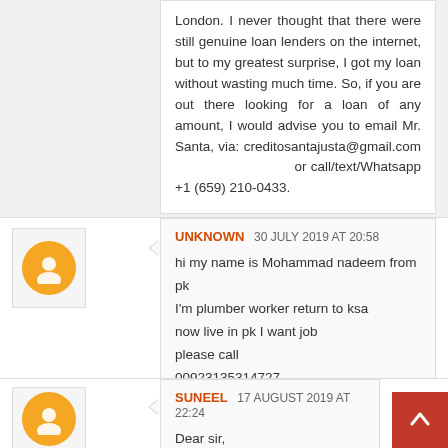London. I never thought that there were still genuine loan lenders on the internet, but to my greatest surprise, I got my loan without wasting much time. So, if you are out there looking for a loan of any amount, I would advise you to email Mr. Santa, via: creditosantajusta@gmail.com or call/text/Whatsapp +1 (659) 210-0433.
Reply
UNKNOWN 30 JULY 2019 AT 20:58
hi my name is Mohammad nadeem from pk
I'm plumber worker return to ksa
now live in pk I want job
please call
00923135314727
Reply
SUNEEL 17 AUGUST 2019 AT 22:24
Dear sir,